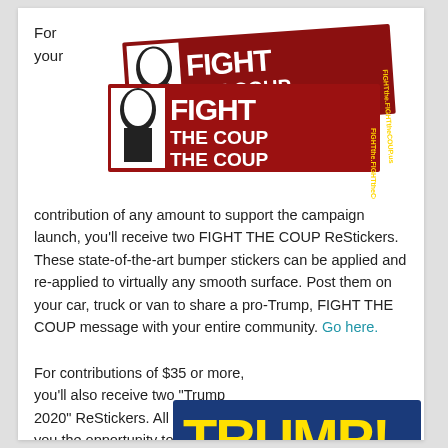For
your
[Figure (photo): Two red 'FIGHT THE COUP' bumper sticker images arranged at an angle, featuring a silhouette portrait and bold white text on red background with URL FIGHTtheCOUP.us]
contribution of any amount to support the campaign launch, you'll receive two FIGHT THE COUP ReStickers. These state-of-the-art bumper stickers can be applied and re-applied to virtually any smooth surface. Post them on your car, truck or van to share a pro-Trump, FIGHT THE COUP message with your entire community. Go here.
For contributions of $35 or more, you'll also receive two "Trump 2020" ReStickers. All four will give you the opportunity to tell family, friends and neighbors exactly where you stand.
[Figure (photo): Bottom of a blue and yellow 'TRUMP!' bumper sticker partially visible at the bottom of the page]